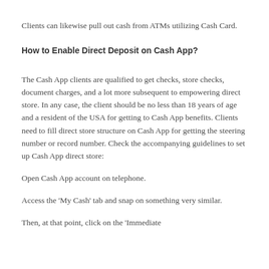Clients can likewise pull out cash from ATMs utilizing Cash Card.
How to Enable Direct Deposit on Cash App?
The Cash App clients are qualified to get checks, store checks, document charges, and a lot more subsequent to empowering direct store. In any case, the client should be no less than 18 years of age and a resident of the USA for getting to Cash App benefits. Clients need to fill direct store structure on Cash App for getting the steering number or record number. Check the accompanying guidelines to set up Cash App direct store:
Open Cash App account on telephone.
Access the 'My Cash' tab and snap on something very similar.
Then, at that point, click on the 'Immediate